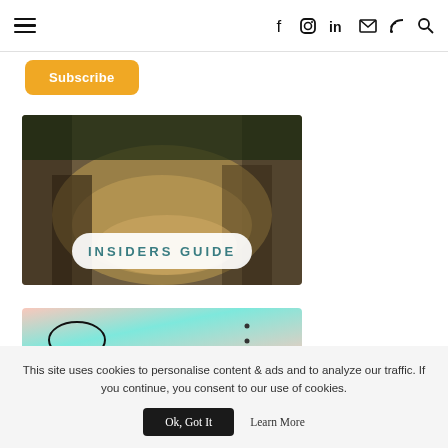Navigation bar with hamburger menu and social icons: f, Instagram, in, mail, RSS, search
Subscribe
[Figure (photo): Earthy sandy forest trail photograph with INSIDERS GUIDE text overlay on a white pill-shaped badge]
[Figure (photo): Colorful gradient image with peach/teal colors and oval shape outline]
This site uses cookies to personalise content & ads and to analyze our traffic. If you continue, you consent to our use of cookies.
Ok, Got It   Learn More